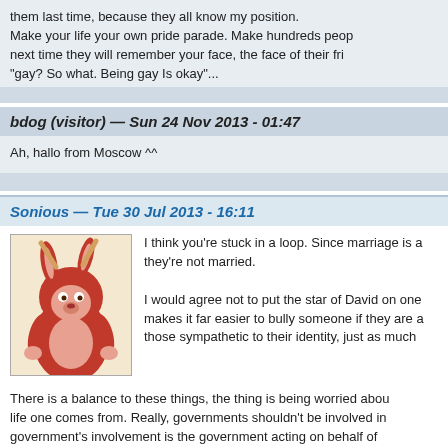them last time, because they all know my position. Make your life your own pride parade. Make hundreds peop next time they will remember your face, the face of their fri "gay? So what. Being gay Is okay"...
bdog (visitor) — Sun 24 Nov 2013 - 01:47
Ah, hallo from Moscow ^^
Sonious — Tue 30 Jul 2013 - 16:11
[Figure (illustration): Avatar of Sonious: a red anthropomorphic rabbit/kangaroo character illustration]
I think you're stuck in a loop. Since marriage is a they're not married.

I would agree not to put the star of David on one makes it far easier to bully someone if they are a those sympathetic to their identity, just as much
There is a balance to these things, the thing is being worried abou life one comes from. Really, governments shouldn't be involved in government's involvement is the government acting on behalf of married, they should not have the right to perform the ceremony state however, should not.)